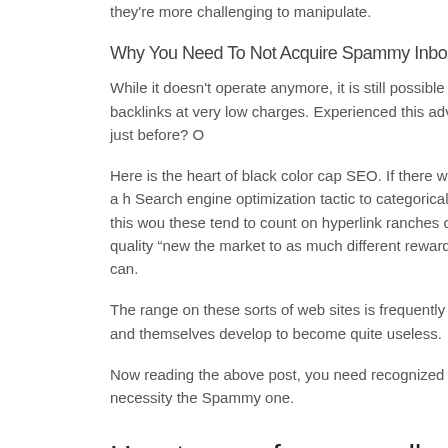they're more challenging to manipulate.
Why You Need To Not Acquire Spammy Inbound links
While it doesn't operate anymore, it is still possible to buy backlinks at very low charges. Experienced this advertisement just before? O
Here is the heart of black color cap SEO. If there was actually a h Search engine optimization tactic to categorically go out, this wou these tend to count on hyperlink ranches or reduced-quality "new the market to as much different rewards as you can.
The range on these sorts of web sites is frequently gibberish and themselves develop to become quite useless.
Now reading the above post, you need recognized the necessity the Spammy one.
How to care for your collection of trading
Posted by
The way to get began on earth of cards